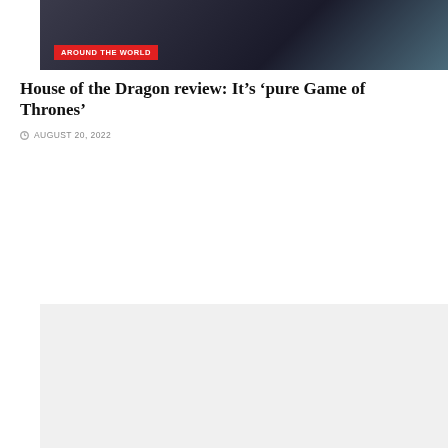[Figure (photo): Dark background image of a person in dim lighting, partially visible, with 'AROUND THE WORLD' red badge overlaid at bottom-left]
House of the Dragon review: It’s ‘pure Game of Thrones’
© AUGUST 20, 2022
[Figure (photo): Light gray placeholder image with 'AROUND THE WORLD' red badge overlaid at bottom-left]